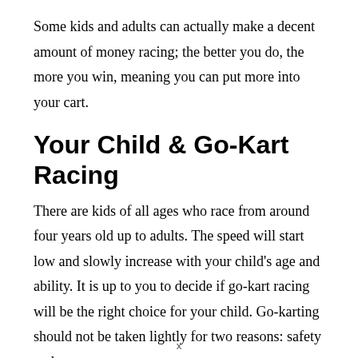Some kids and adults can actually make a decent amount of money racing; the better you do, the more you win, meaning you can put more into your cart.
Your Child & Go-Kart Racing
There are kids of all ages who race from around four years old up to adults. The speed will start low and slowly increase with your child's age and ability. It is up to you to decide if go-kart racing will be the right choice for your child. Go-karting should not be taken lightly for two reasons: safety and cost.
x